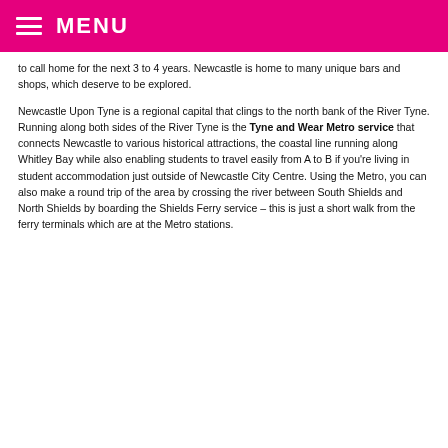MENU
to call home for the next 3 to 4 years. Newcastle is home to many unique bars and shops, which deserve to be explored.
Newcastle Upon Tyne is a regional capital that clings to the north bank of the River Tyne. Running along both sides of the River Tyne is the Tyne and Wear Metro service that connects Newcastle to various historical attractions, the coastal line running along Whitley Bay while also enabling students to travel easily from A to B if you're living in student accommodation just outside of Newcastle City Centre. Using the Metro, you can also make a round trip of the area by crossing the river between South Shields and North Shields by boarding the Shields Ferry service – this is just a short walk from the ferry terminals which are at the Metro stations.